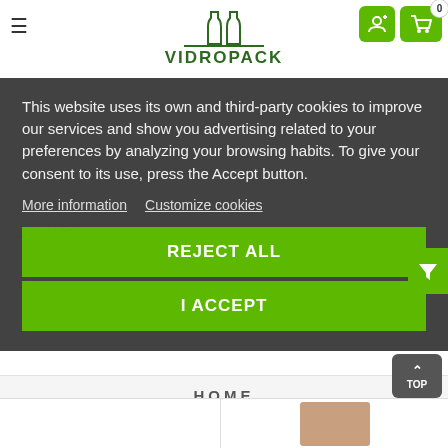[Figure (logo): Vidropack logo with two bottle silhouettes above the text VIDROPACK in dark green, with a horizontal line]
This website uses its own and third-party cookies to improve our services and show you advertising related to your preferences by analyzing your browsing habits. To give your consent to its use, press the Accept button.
More information   Customize cookies
REJECT ALL
I ACCEPT
HOME
TOP